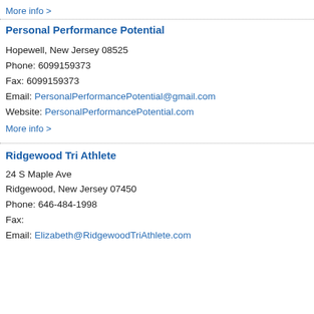More info >
Personal Performance Potential
Hopewell, New Jersey 08525
Phone: 6099159373
Fax: 6099159373
Email: PersonalPerformancePotential@gmail.com
Website: PersonalPerformancePotential.com
More info >
Ridgewood Tri Athlete
24 S Maple Ave
Ridgewood, New Jersey 07450
Phone: 646-484-1998
Fax:
Email: Elizabeth@RidgewoodTriAthlete.com